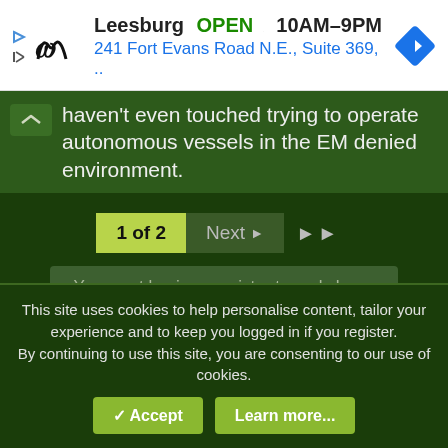[Figure (screenshot): Under Armour store ad banner showing Leesburg store, OPEN status, hours 10AM-9PM, address 241 Fort Evans Road N.E., Suite 369, and navigation icon]
haven't even touched trying to operate autonomous vessels in the EM denied environment.
1 of 2  Next  ▶▶
You must log in or register to reply here.
Similar threads
Joint Force Arsenal
This site uses cookies to help personalise content, tailor your experience and to keep you logged in if you register.
By continuing to use this site, you are consenting to our use of cookies.
✓ Accept   Learn more...